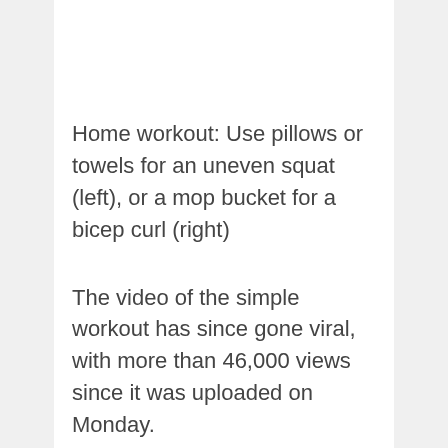Home workout: Use pillows or towels for an uneven squat (left), or a mop bucket for a bicep curl (right)
The video of the simple workout has since gone viral, with more than 46,000 views since it was uploaded on Monday.